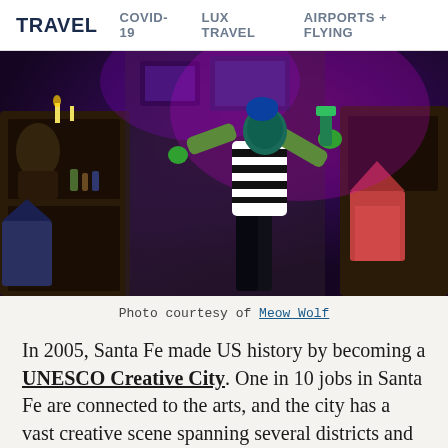TRAVEL   COVID-19   LUX TRAVEL   AIRPORTS + FLYING
[Figure (photo): A performer in a striped shirt and blue hair mask gestures dramatically inside a colorful, surreal art installation with purple lighting and eclectic decor — appears to be Meow Wolf Santa Fe.]
Photo courtesy of Meow Wolf
In 2005, Santa Fe made US history by becoming a UNESCO Creative City. One in 10 jobs in Santa Fe are connected to the arts, and the city has a vast creative scene spanning several districts and neighborhoods, each bolstered by locals and